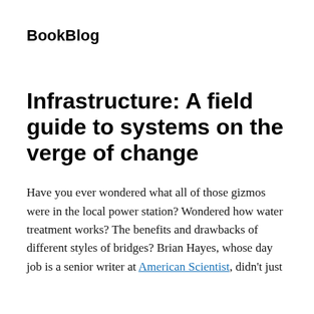BookBlog
Infrastructure: A field guide to systems on the verge of change
Have you ever wondered what all of those gizmos were in the local power station? Wondered how water treatment works? The benefits and drawbacks of different styles of bridges? Brian Hayes, whose day job is a senior writer at American Scientist, didn't just